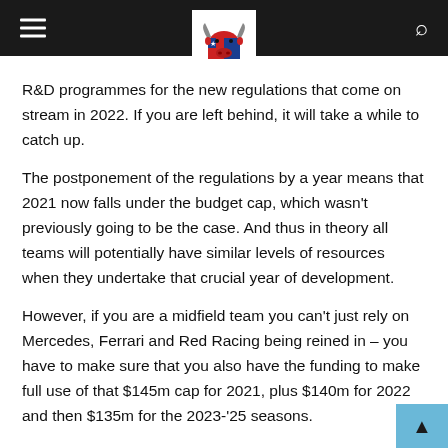[Navigation bar with hamburger menu, logo, and search icon]
R&D programmes for the new regulations that come on stream in 2022. If you are left behind, it will take a while to catch up.
The postponement of the regulations by a year means that 2021 now falls under the budget cap, which wasn't previously going to be the case. And thus in theory all teams will potentially have similar levels of resources when they undertake that crucial year of development.
However, if you are a midfield team you can't just rely on Mercedes, Ferrari and Red Racing being reined in – you have to make sure that you also have the funding to make full use of that $145m cap for 2021, plus $140m for 2022 and then $135m for the 2023-'25 seasons.